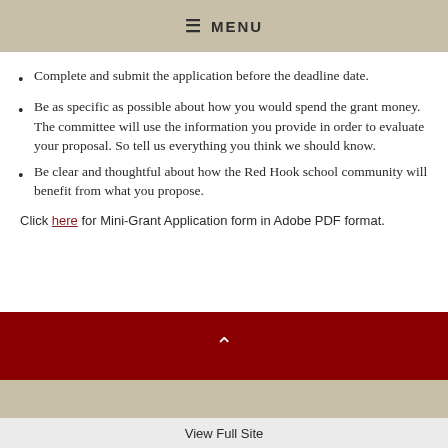☰ MENU
Complete and submit the application before the deadline date.
Be as specific as possible about how you would spend the grant money. The committee will use the information you provide in order to evaluate your proposal. So tell us everything you think we should know.
Be clear and thoughtful about how the Red Hook school community will benefit from what you propose.
Click here for Mini-Grant Application form in Adobe PDF format.
View Full Site